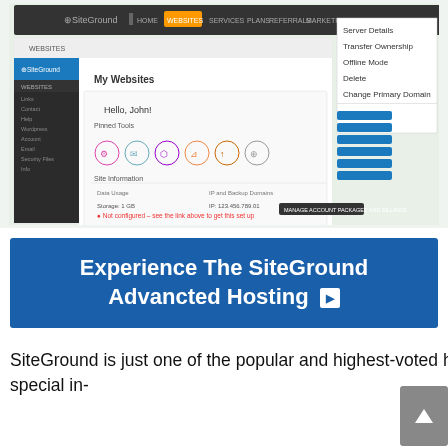[Figure (screenshot): Screenshot of SiteGround web hosting control panel showing 'My Websites' page with site management tools, site info, and a dropdown context menu with options: Server Details, Transfer Ownership, Offline Mode, Delete, Change Primary Domain.]
[Figure (infographic): Blue CTA banner reading 'Experience The SiteGround Advancted Hosting' with a white play button icon.]
SiteGround is just one of the popular and highest-voted hosting carriers in the WordPress forum. They provide special in-